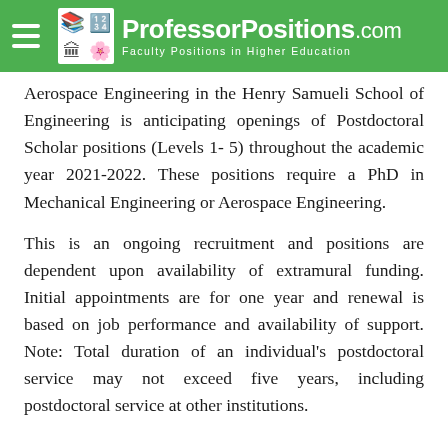ProfessorPositions.com — Faculty Positions in Higher Education
Aerospace Engineering in the Henry Samueli School of Engineering is anticipating openings of Postdoctoral Scholar positions (Levels 1- 5) throughout the academic year 2021-2022. These positions require a PhD in Mechanical Engineering or Aerospace Engineering.
This is an ongoing recruitment and positions are dependent upon availability of extramural funding. Initial appointments are for one year and renewal is based on job performance and availability of support. Note: Total duration of an individual's postdoctoral service may not exceed five years, including postdoctoral service at other institutions.